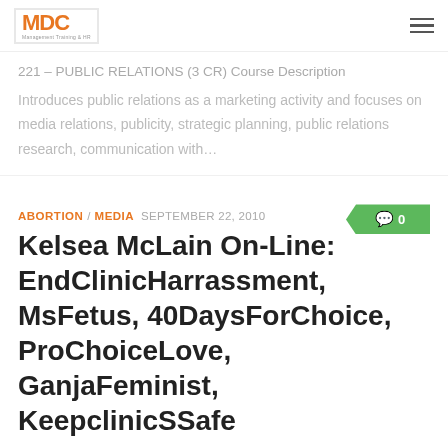MDC logo and navigation
221 – PUBLIC RELATIONS (3 CR) Course Description Introduces public relations as a marketing activity and focuses on media relations, publicity, strategic planning, public relations research, communication with…
ABORTION / MEDIA  SEPTEMBER 22, 2010
Kelsea McLain On-Line: EndClinicHarrassment, MsFetus, 40DaysForChoice, ProChoiceLove, GanjaFeminist, KeepclinicSSafe
Not Safe For Work Kelsea McLain (not her, re: his-real name) is an abortion advocate on Twitter using a number of aliases. His Tweets are written not to provoke a thought; but to provoke…